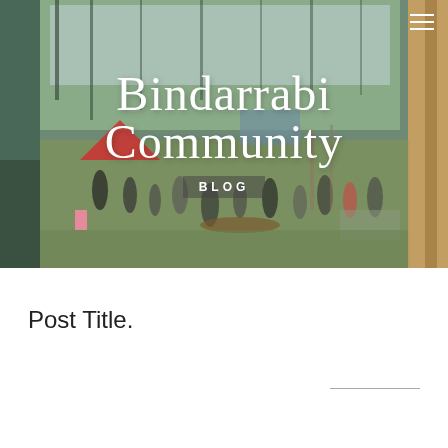[Figure (photo): Outdoor community gathering at Bindarrabi Community, people sitting and standing on grass with trees in background, red tent and white tent visible, sunny day]
Bindarrabi Community
Blog
Post Title.